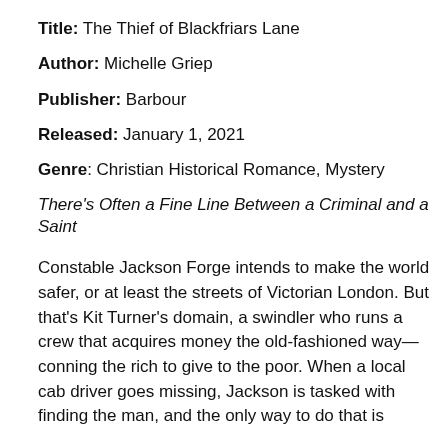Title: The Thief of Blackfriars Lane
Author: Michelle Griep
Publisher: Barbour
Released: January 1, 2021
Genre: Christian Historical Romance, Mystery
There's Often a Fine Line Between a Criminal and a Saint
Constable Jackson Forge intends to make the world safer, or at least the streets of Victorian London. But that's Kit Turner's domain, a swindler who runs a crew that acquires money the old-fashioned way—conning the rich to give to the poor. When a local cab driver goes missing, Jackson is tasked with finding the man, and the only way to do that is